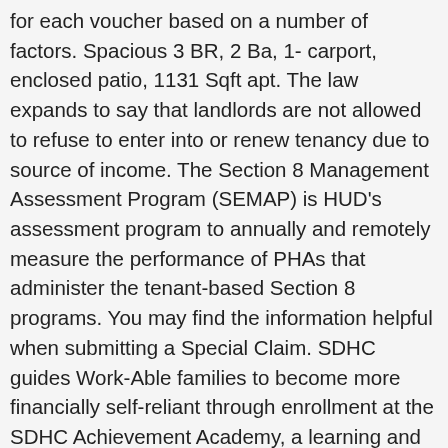for each voucher based on a number of factors. Spacious 3 BR, 2 Ba, 1- carport, enclosed patio, 1131 Sqft apt. The law expands to say that landlords are not allowed to refuse to enter into or renew tenancy due to source of income. The Section 8 Management Assessment Program (SEMAP) is HUD's assessment program to annually and remotely measure the performance of PHAs that administer the tenant-based Section 8 programs. You may find the information helpful when submitting a Special Claim. SDHC guides Work-Able families to become more financially self-reliant through enrollment at the SDHC Achievement Academy, a learning and resource center and computer lab with programs that emphasize career planning, job skills and personal financial education. The family's voucher will show the number of bedrooms authorized by the Housing Authority, based on the number of persons in the family. Create an account and get an access token, Section 811 housing for persons with disabilities programs. Choice Communities. The California Section 8 Program or Housing Choice Voucher Program is operated by the California